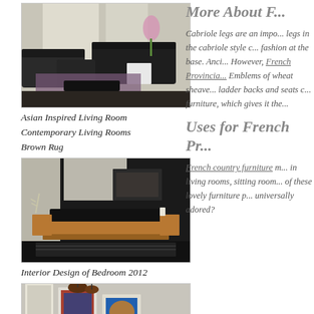[Figure (photo): Asian inspired living room with dark modern furniture, purple rug, white side tables, and pink orchid]
Asian Inspired Living Room
Contemporary Living Rooms
Brown Rug
[Figure (photo): Interior design of bedroom 2012 with dark walls, wooden floating bed platform, and dark rug]
Interior Design of Bedroom 2012
[Figure (photo): Room interior with artwork on walls and pendant lights]
More About F...
Cabriole legs are an impo... legs in the cabriole style c... fashion at the base. Anci... However, French Provincia... Emblems of wheat sheave... ladder backs and seats c... furniture, which gives it the...
Uses for French Pr...
French country furniture m... in living rooms, sitting room... of these lovely furniture p... universally adored?
[Figure (photo): Ornate French Provincial style living room with gold and cream upholstered furniture]
[Figure (photo): French Provincial style room, partially visible]